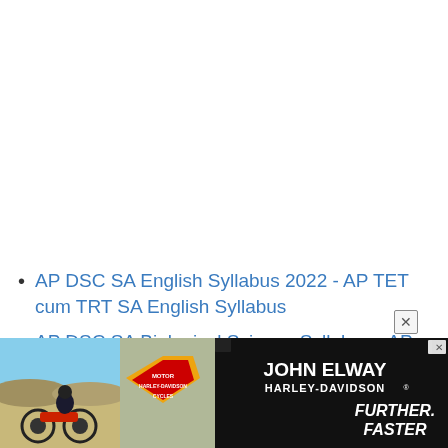AP DSC SA English Syllabus 2022 - AP TET cum TRT SA English Syllabus
AP DSC SA Biological Science Syllabus - AP TET cum TRT 2022
[Figure (photo): Advertisement banner for John Elway Harley-Davidson with motorcyclist photo and 'FURTHER. FASTER' tagline on dark background]